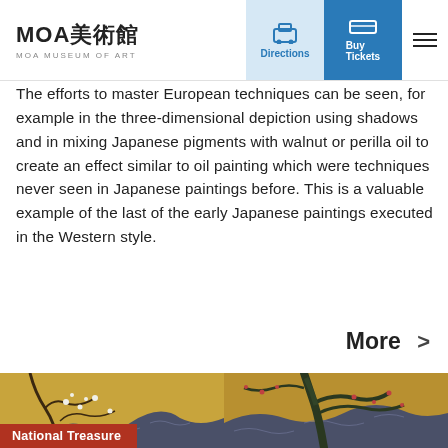MOA美術館 MOA MUSEUM OF ART
The efforts to master European techniques can be seen, for example in the three-dimensional depiction using shadows and in mixing Japanese pigments with walnut or perilla oil to create an effect similar to oil painting which were techniques never seen in Japanese paintings before. This is a valuable example of the last of the early Japanese paintings executed in the Western style.
More >
[Figure (photo): Two Japanese paintings side-by-side depicting plum blossoms and flowing water on gold background. Left panel shows white flowering plum branches over stylized blue river waves. Right panel shows darker plum tree with red blossoms over similar wave pattern.]
National Treasure